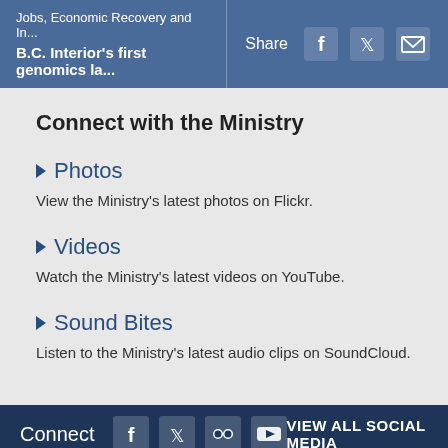Jobs, Economic Recovery and In... | B.C. Interior's first genomics la...
Connect with the Ministry
Photos
View the Ministry's latest photos on Flickr.
Videos
Watch the Ministry's latest videos on YouTube.
Sound Bites
Listen to the Ministry's latest audio clips on SoundCloud.
Connect  VIEW ALL SOCIAL MEDIA